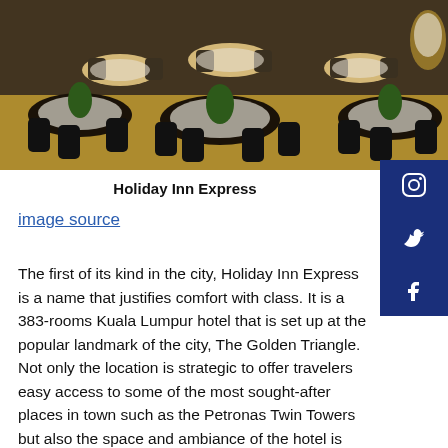[Figure (photo): Interior of a banquet hall with round tables set with white linens and black chair covers, golden carpet floor, green centerpieces, warm lighting — Holiday Inn Express hotel ballroom.]
Holiday Inn Express
image source
The first of its kind in the city, Holiday Inn Express is a name that justifies comfort with class. It is a 383-rooms Kuala Lumpur hotel that is set up at the popular landmark of the city, The Golden Triangle. Not only the location is strategic to offer travelers easy access to some of the most sought-after places in town such as the Petronas Twin Towers but also the space and ambiance of the hotel is wonderful to make one's stay cherishing.